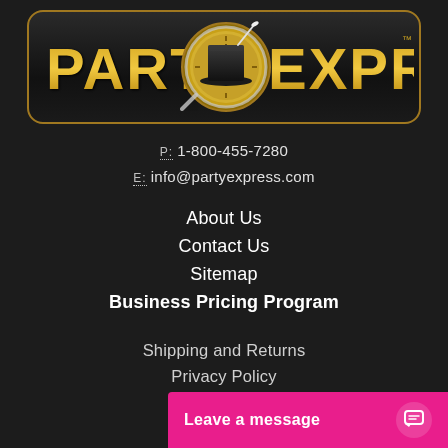[Figure (logo): Party Express logo with gold text 'PARTY EXPRESS', black top hat in center circle with clock/monocle design, on dark rounded rectangle with gold border]
P: 1-800-455-7280
E: info@partyexpress.com
About Us
Contact Us
Sitemap
Business Pricing Program
Shipping and Returns
Privacy Policy
Terms
[Figure (other): Pink chat widget bar with text 'Leave a message' and speech bubble icon]